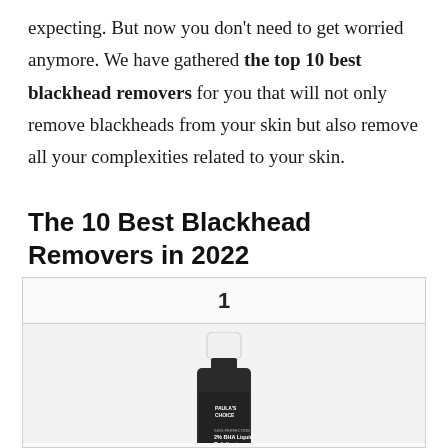expecting. But now you don't need to get worried anymore. We have gathered the top 10 best blackhead removers for you that will not only remove blackheads from your skin but also remove all your complexities related to your skin.
The 10 Best Blackhead Removers in 2022
[Figure (photo): Product card numbered '1' with a photo of a Paula's Choice SKIN PERFECTING 2% BHA Liquid Exfoliant bottle (dark bottle with white cap)]